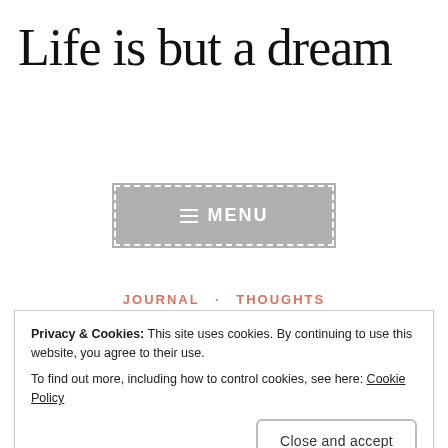Life is but a dream
[Figure (other): Gray menu button with dashed white border, hamburger icon and text MENU]
JOURNAL · THOUGHTS
Privacy & Cookies: This site uses cookies. By continuing to use this website, you agree to their use.
To find out more, including how to control cookies, see here: Cookie Policy
Close and accept